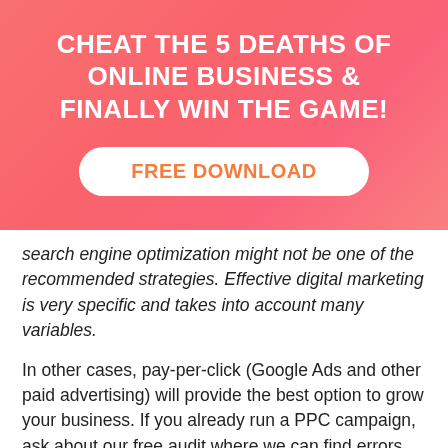CHEAT THE 5 DEATHS OF ONLINE BUSINESS & FINALLY WIN THE GAME!
FREE DOWNLOAD
search engine optimization might not be one of the recommended strategies. Effective digital marketing is very specific and takes into account many variables.
In other cases, pay-per-click (Google Ads and other paid advertising) will provide the best option to grow your business. If you already run a PPC campaign, ask about our free audit where we can find errors and reduce your overall ad spend every month! The vast majority of PPC campaigns we have analyzed make some very costly errors in landing pages and the ads themselves. Ask about our PPC Cheat Sheet for Salons and a free consultation.
If you don't have a website, a marketing specialist can advise you on the an appropriate web package that fits with your overall branding.